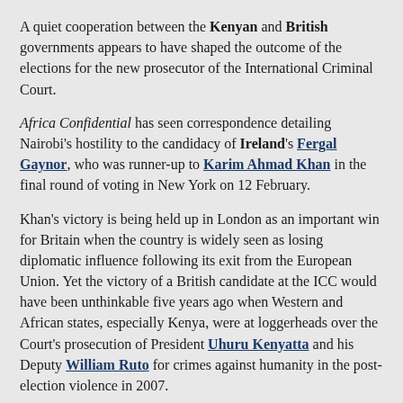A quiet cooperation between the Kenyan and British governments appears to have shaped the outcome of the elections for the new prosecutor of the International Criminal Court.
Africa Confidential has seen correspondence detailing Nairobi's hostility to the candidacy of Ireland's Fergal Gaynor, who was runner-up to Karim Ahmad Khan in the final round of voting in New York on 12 February.
Khan's victory is being held up in London as an important win for Britain when the country is widely seen as losing diplomatic influence following its exit from the European Union. Yet the victory of a British candidate at the ICC would have been unthinkable five years ago when Western and African states, especially Kenya, were at loggerheads over the Court's prosecution of President Uhuru Kenyatta and his Deputy William Ruto for crimes against humanity in the post-election violence in 2007.
What Britain and Kenya were able to agree on was a candidate for the prosecutor's job who had won the trust of both Britain's prime minister Boris Johnson and Kenyatta. This was made easier by the warm relations between the two men evident at the UK-Africa Investment summit a year ago. That triggered negotiations for a new bilateral, post-Brexit UK-Kenya trade agreement (albeit one